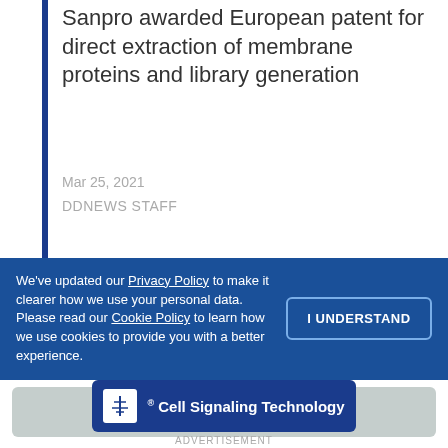Sanpro awarded European patent for direct extraction of membrane proteins and library generation
Mar 25, 2021
DDNEWS STAFF
[Figure (other): PDF Version button (dark blue rounded rectangle)]
[Figure (other): Social media share icons: Facebook, Twitter, Save, More (+)]
We've updated our Privacy Policy to make it clearer how we use your personal data. Please read our Cookie Policy to learn how we use cookies to provide you with a better experience.
[Figure (other): I UNDERSTAND button on cookie banner]
[Figure (logo): Cell Signaling Technology advertisement banner with logo]
ADVERTISEMENT